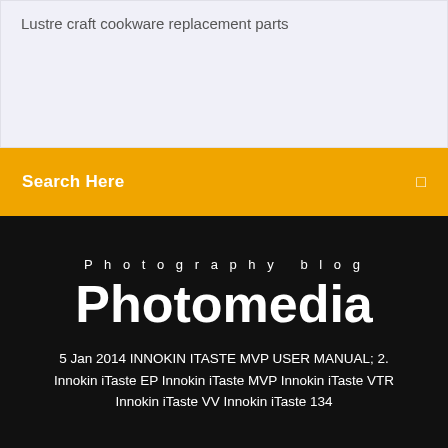Lustre craft cookware replacement parts
Search Here
Photography blog
Photomedia
5 Jan 2014 INNOKIN ITASTE MVP USER MANUAL; 2. Innokin iTaste EP Innokin iTaste MVP Innokin iTaste VTR Innokin iTaste VV Innokin iTaste 134